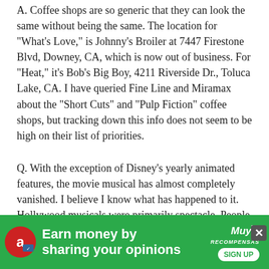A. Coffee shops are so generic that they can look the same without being the same. The location for "What's Love," is Johnny's Broiler at 7447 Firestone Blvd, Downey, CA, which is now out of business. For "Heat," it's Bob's Big Boy, 4211 Riverside Dr., Toluca Lake, CA. I have queried Fine Line and Miramax about the "Short Cuts" and "Pulp Fiction" coffee shops, but tracking down this info does not seem to be high on their list of priorities.
Q. With the exception of Disney's yearly animated features, the movie musical has almost completely vanished. I believe I know what has happened to it. Hollywood musicals were primarily spectacle. People went to see them not for the plot but for the lavish production numbers. Recent films like "Twister" and "Mission: Impossible" have been described by critics in terms that could just as easily be applied to Hollywood musicals.
[Figure (infographic): Green advertisement banner at bottom of page. Text reads 'Earn money by sharing your opinions' with a MuyRecompensas logo and SIGN UP button. Red circular icon with 'a' logo on left. Close button (X) in top right corner.]